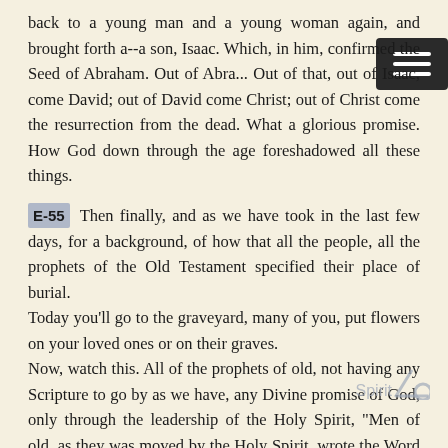back to a young man and a young woman again, and brought forth a--a son, Isaac. Which, in him, confirmed the Seed of Abraham. Out of Abra... Out of that, out of Isaac, come David; out of David come Christ; out of Christ come the resurrection from the dead. What a glorious promise. How God down through the age foreshadowed all these things.
E-55 Then finally, and as we have took in the last few days, for a background, of how that all the people, all the prophets of the Old Testament specified their place of burial. Today you'll go to the graveyard, many of you, put flowers on your loved ones or on their graves. Now, watch this. All of the prophets of old, not having any Scripture to go by as we have, any Divine promise of God, only through the leadership of the Holy Spirit, "Men of old, as they was moved by the Holy Spirit, wrote the Word of God." Each one of them, when they died